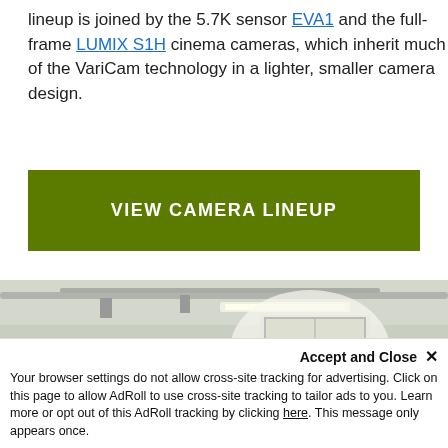lineup is joined by the 5.7K sensor EVA1 and the full-frame LUMIX S1H cinema cameras, which inherit much of the VariCam technology in a lighter, smaller camera design.
VIEW CAMERA LINEUP
[Figure (photo): Group of people including some wearing football helmets looking upward, in a room with pipes on ceiling and a bright window in background. Camera/broadcast equipment visible on left.]
Accept and Close ×
Your browser settings do not allow cross-site tracking for advertising. Click on this page to allow AdRoll to use cross-site tracking to tailor ads to you. Learn more or opt out of this AdRoll tracking by clicking here. This message only appears once.